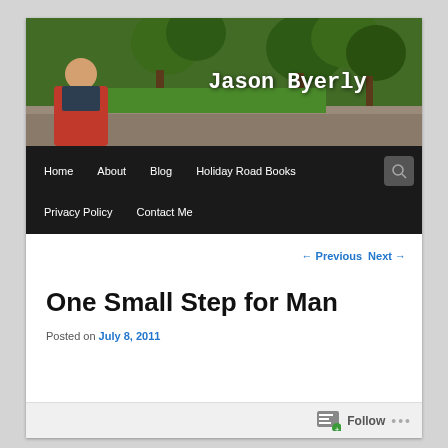[Figure (photo): Website header banner showing a man in a red plaid shirt leaning on a stone wall in a park with trees in the background, with the text 'Jason Byerly' overlaid in white monospace font]
Home   About   Blog   Holiday Road Books   Privacy Policy   Contact Me
← Previous   Next →
One Small Step for Man
Posted on July 8, 2011
Follow ...